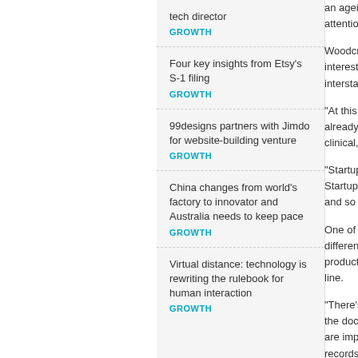tech director
GROWTH
Four key insights from Etsy's S-1 filing
GROWTH
99designs partners with Jimdo for website-building venture
GROWTH
China changes from world's factory to innovator and Australia needs to keep pace
GROWTH
Virtual distance: technology is rewriting the rulebook for human interaction
GROWTH
an ageing popula attention is very f
Woodcroft says t interest for the e interstate.
“At this stage, we already well exce clinical, technical
“Startup groups f Startup Weekenc and so we will be
One of the key ch difference in the r products, especia line.
“There’s a real co the doctor’s or th are important iss records go missi disadvantages of